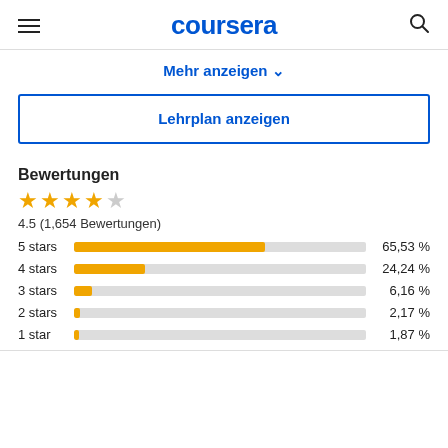coursera
Mehr anzeigen
Lehrplan anzeigen
Bewertungen
[Figure (bar-chart): Bewertungen]